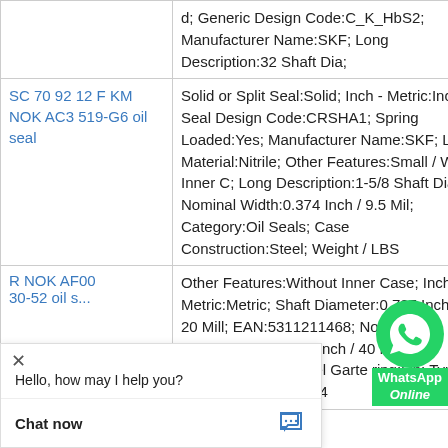| Product | Description |
| --- | --- |
|  | d; Generic Design Code:C_K_HbS2; Manufacturer Name:SKF; Long Description:32 Shaft Dia; |
| SC 70 92 12 F KM NOK AC3 519-G6 oil seal | Solid or Split Seal:Solid; Inch - Metric:Inch; Seal Design Code:CRSHA1; Spring Loaded:Yes; Manufacturer Name:SKF; Lip Material:Nitrile; Other Features:Small / With Inner C; Long Description:1-5/8 Shaft Dia; Nominal Width:0.374 Inch / 9.5 Mil; Category:Oil Seals; Case Construction:Steel; Weight / LBS ... |
| R NOK AF00 ... | Other Features:Without Inner Case; Inch - Metric:Metric; Shaft Diameter:0.787 Inch / 20 Mill; EAN:5311211468; Noun:Seal; Housing Bore:1.575 Inch / 40 Mill; Lip Material:Carbon Steel Garter Ring:Lip; Type of Seal:Actual Width:0.394 |
[Figure (screenshot): WhatsApp Online overlay button in bottom-right area]
[Figure (screenshot): Live chat widget overlay at bottom-left with 'Hello, how may I help you?' message and 'Chat now' button]